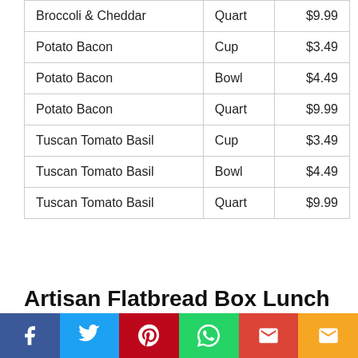| Broccoli & Cheddar | Quart | $9.99 |
| Potato Bacon | Cup | $3.49 |
| Potato Bacon | Bowl | $4.49 |
| Potato Bacon | Quart | $9.99 |
| Tuscan Tomato Basil | Cup | $3.49 |
| Tuscan Tomato Basil | Bowl | $4.49 |
| Tuscan Tomato Basil | Quart | $9.99 |
Artisan Flatbread Box Lunch
| California Chicken Avocado |  | $7. |